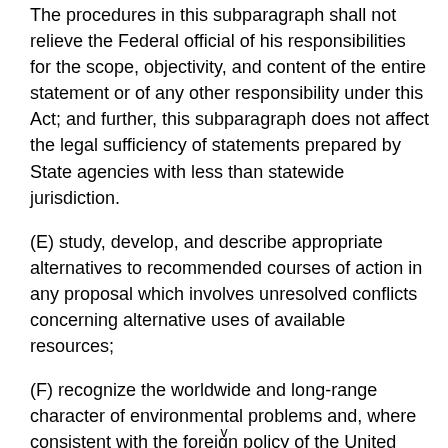The procedures in this subparagraph shall not relieve the Federal official of his responsibilities for the scope, objectivity, and content of the entire statement or of any other responsibility under this Act; and further, this subparagraph does not affect the legal sufficiency of statements prepared by State agencies with less than statewide jurisdiction.
(E) study, develop, and describe appropriate alternatives to recommended courses of action in any proposal which involves unresolved conflicts concerning alternative uses of available resources;
(F) recognize the worldwide and long-range character of environmental problems and, where consistent with the foreign policy of the United States, lend appropriate support to initiatives, resolutions, and programs designed
v